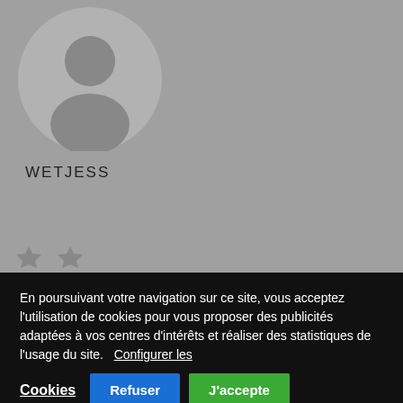[Figure (illustration): Gray circular avatar placeholder icon showing a generic user silhouette]
WETJESS
En poursuivant votre navigation sur ce site, vous acceptez l'utilisation de cookies pour vous proposer des publicités adaptées à vos centres d'intérêts et réaliser des statistiques de l'usage du site.   Configurer les Cookies
Refuser
J'accepte
DERWMAR
derwmar 002eecfc5e
https://www.jemotorworks.co.uk/profile/Official-Lenovo-VIBE-X3-X3a40-Stock-Rom-Updated-2022/profile